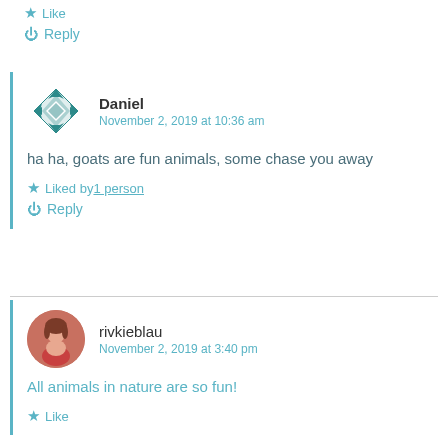Like
Reply
Daniel
November 2, 2019 at 10:36 am
ha ha, goats are fun animals, some chase you away
Liked by 1 person
Reply
rivkieblau
November 2, 2019 at 3:40 pm
All animals in nature are so fun!
Like